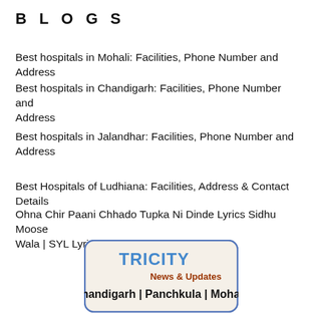B L O G S
Best hospitals in Mohali: Facilities, Phone Number and Address
Best hospitals in Chandigarh: Facilities, Phone Number and Address
Best hospitals in Jalandhar: Facilities, Phone Number and Address
Best Hospitals of Ludhiana: Facilities, Address & Contact Details
Ohna Chir Paani Chhado Tupka Ni Dinde Lyrics Sidhu Moose Wala | SYL Lyrics Sidhu Moose Wala
[Figure (logo): Tricity News & Updates logo with text: TRICITY in blue, News & Updates in dark red, Chandigarh | Panchkula | Mohali in bold black, inside a rounded rectangle with blue border on beige background]